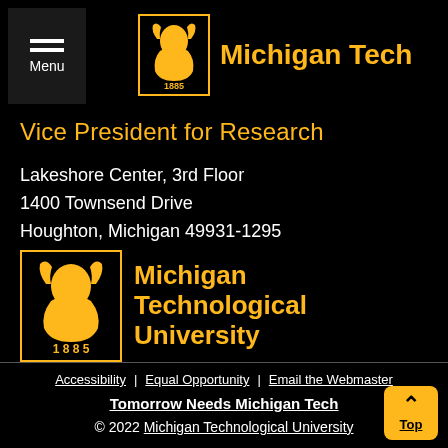Menu | Michigan Tech
Vice President for Research
Lakeshore Center, 3rd Floor
1400 Townsend Drive
Houghton, Michigan 49931-1295
[Figure (logo): Michigan Technological University logo with wolf and 1885]
Accessibility | Equal Opportunity | Email the Webmaster
Tomorrow Needs Michigan Tech
© 2022 Michigan Technological University